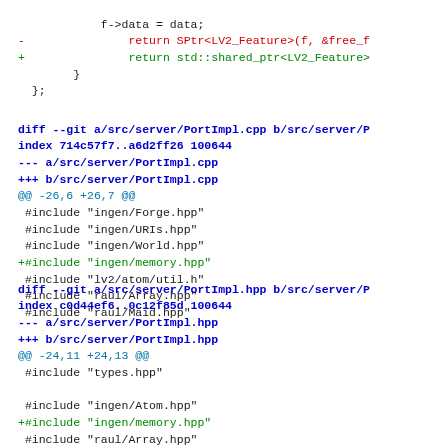f->data = data;
-                return SPtr<LV2_Feature>(f, &free_f
+                return std::shared_ptr<LV2_Feature>
        }
 };
diff --git a/src/server/PortImpl.cpp b/src/server/P
index 714c57f7..a6d2ff26 100644
--- a/src/server/PortImpl.cpp
+++ b/src/server/PortImpl.cpp
@@ -26,6 +26,7 @@
 #include "ingen/Forge.hpp"
 #include "ingen/URIs.hpp"
 #include "ingen/World.hpp"
+#include "ingen/memory.hpp"
 #include "lv2/atom/util.h"
 #include "raul/Array.hpp"
 #include "raul/Maid.hpp"
diff --git a/src/server/PortImpl.hpp b/src/server/P
index c0d44ef6..0c12f85d 100644
--- a/src/server/PortImpl.hpp
+++ b/src/server/PortImpl.hpp
@@ -24,11 +24,13 @@
 #include "types.hpp"

 #include "ingen/Atom.hpp"
+#include "ingen/memory.hpp"
 #include "raul/Array.hpp"